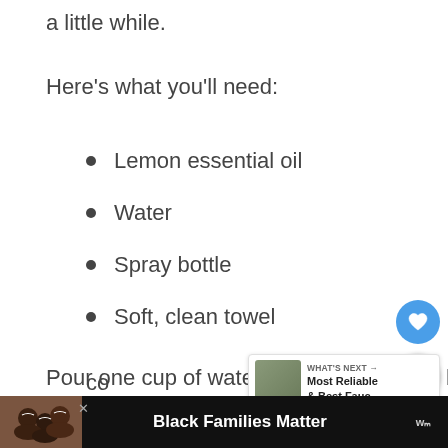a little while.
Here's what you'll need:
Lemon essential oil
Water
Spray bottle
Soft, clean towel
Pour one cup of water into a clean spray bottle. Add about ten drops of lemon oil to the water and swirl the mixture to combine (the solution
[Figure (screenshot): UI overlay showing a heart/like button (blue circle) and a share button (white circle with share icon), plus a 'What's Next' card showing 'Most Reliable & Best Fauc...' with a leaf/plant thumbnail image.]
[Figure (screenshot): Bottom advertisement bar with dark background showing a photo of smiling family (Black Families Matter) and a close button (x), with a CNN icon on the right, and partially visible text below from article body.]